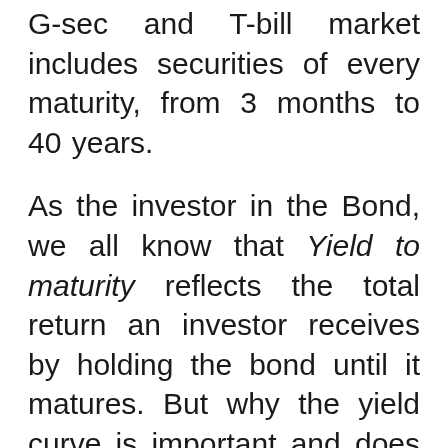G-sec and T-bill market includes securities of every maturity, from 3 months to 40 years.
As the investor in the Bond, we all know that Yield to maturity reflects the total return an investor receives by holding the bond until it matures. But why the yield curve is important and does it has a predictable power?
The information contains in the